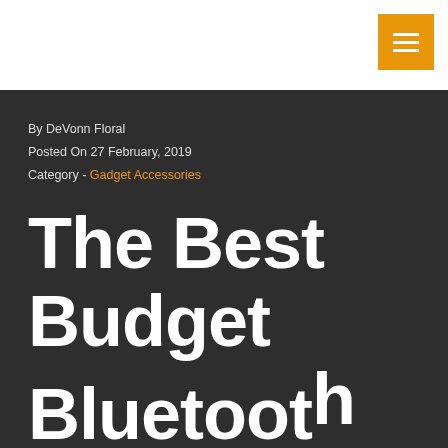[Figure (other): Orange hamburger menu button in the top-right corner of a white header bar]
By DeVonn Floral
Posted On 27 February, 2019
Category - Gadget Accessories
The Best Budget Bluetooth